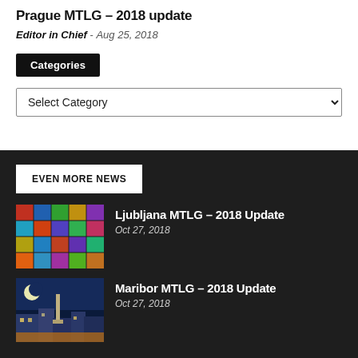Prague MTLG – 2018 update
Editor in Chief - Aug 25, 2018
Categories
Select Category
EVEN MORE NEWS
[Figure (photo): Colorful grid of icons/flags for Ljubljana MTLG article thumbnail]
Ljubljana MTLG – 2018 Update
Oct 27, 2018
[Figure (photo): Night cityscape with monument and blue sky for Maribor MTLG article thumbnail]
Maribor MTLG – 2018 Update
Oct 27, 2018